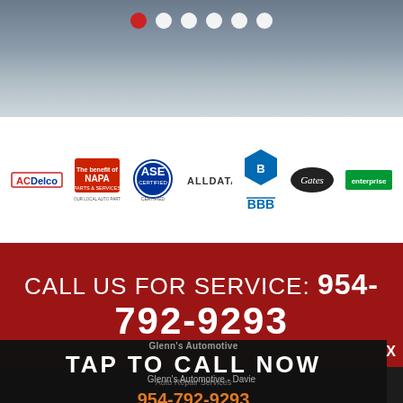[Figure (screenshot): Top dark/gray image area with carousel navigation dots (one red active dot, five white dots)]
[Figure (logo): Logo bar featuring: ACDelco, NAPA, ASE Certified, ALLDATA, BBB (Better Business Bureau), Gates, Enterprise logos]
CALL US FOR SERVICE: 954-792-9293
TAP TO CALL NOW
Glenn's Automotive
Auto Repair Services
954-792-9293
Glenn's Automotive - Davie
X